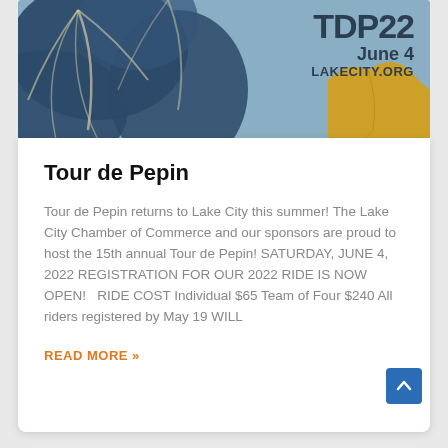[Figure (photo): Event banner image for Tour de Pepin (TDP22) showing a decorative dark blue floral/leaf design on a blue-grey background with a yellow map shape on the right side. Text overlay reads 'TDP22 June 4 LAKECITY.ORG']
Tour de Pepin
Tour de Pepin returns to Lake City this summer! The Lake City Chamber of Commerce and our sponsors are proud to host the 15th annual Tour de Pepin! SATURDAY, JUNE 4, 2022 REGISTRATION FOR OUR 2022 RIDE IS NOW OPEN!   RIDE COST Individual $65 Team of Four $240 All riders registered by May 19 WILL
READ MORE »